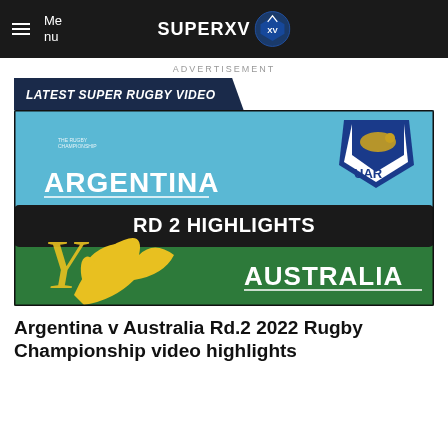Menu  SUPERXV
ADVERTISEMENT
LATEST SUPER RUGBY VIDEO
[Figure (screenshot): Thumbnail image showing Argentina v Australia RD 2 Highlights rugby championship graphic with UAR shield logo, blue/green/black background, yellow wallaby graphic, and text ARGENTINA, RD 2 HIGHLIGHTS, AUSTRALIA]
Argentina v Australia Rd.2 2022 Rugby Championship video highlights